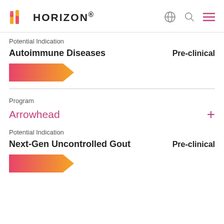HORIZON.
Potential Indication
Autoimmune Diseases    Pre-clinical
[Figure (illustration): Pink to orange gradient arrow shape representing pre-clinical pipeline stage]
Program
Arrowhead
Potential Indication
Next-Gen Uncontrolled Gout    Pre-clinical
[Figure (illustration): Pink to orange gradient arrow shape representing pre-clinical pipeline stage]